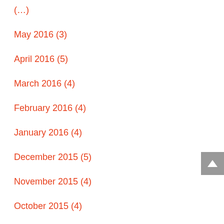(?)
May 2016 (3)
April 2016 (5)
March 2016 (4)
February 2016 (4)
January 2016 (4)
December 2015 (5)
November 2015 (4)
October 2015 (4)
September 2015 (5)